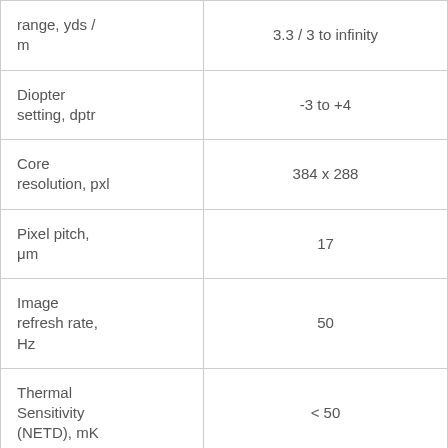| Parameter | Value |
| --- | --- |
| range, yds / m | 3.3 / 3 to infinity |
| Diopter setting, dptr | -3 to +4 |
| Core resolution, pxl | 384 x 288 |
| Pixel pitch, μm | 17 |
| Image refresh rate, Hz | 50 |
| Thermal Sensitivity (NETD), mK | < 50 |